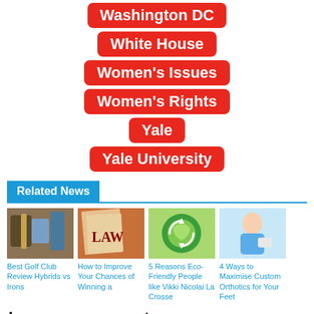Washington DC
White House
Women's Issues
Women's Rights
Yale
Yale University
Related News
[Figure (photo): Golf clubs hybrid vs irons]
Best Golf Club Review Hybrids vs Irons
[Figure (photo): Law book open with LAW text visible]
How to Improve Your Chances of Winning a
[Figure (photo): Eco-friendly green earth globe with recycling arrows]
5 Reasons Eco-Friendly People like Vikki Nicolai La Crosse
[Figure (photo): Medical professional in blue scrubs holding clipboard]
4 Ways to Maximise Custom Orthotics for Your Feet
Leave a comment
Your Name...